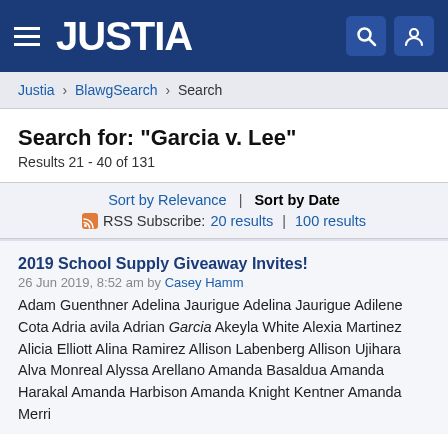JUSTIA
Justia › BlawgSearch › Search
Search for: "Garcia v. Lee"
Results 21 - 40 of 131
Sort by Relevance | Sort by Date
RSS Subscribe: 20 results | 100 results
2019 School Supply Giveaway Invites!
26 Jun 2019, 8:52 am by Casey Hamm
Adam Guenthner Adelina Jaurigue Adelina Jaurigue Adilene Cota Adria avila Adrian Garcia Akeyla White Alexia Martinez Alicia Elliott Alina Ramirez Allison Labenberg Allison Ujihara Alva Monreal Alyssa Arellano Amanda Basaldua Amanda Harakal Amanda Harbison Amanda Knight Amanda Kentner Amanda Merri...